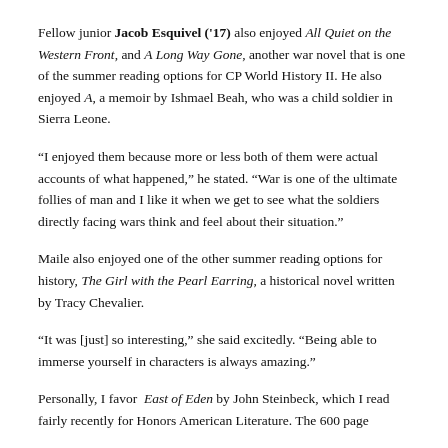Fellow junior Jacob Esquivel ('17) also enjoyed All Quiet on the Western Front, and A Long Way Gone, another war novel that is one of the summer reading options for CP World History II. He also enjoyed A, a memoir by Ishmael Beah, who was a child soldier in Sierra Leone.
“I enjoyed them because more or less both of them were actual accounts of what happened,” he stated. “War is one of the ultimate follies of man and I like it when we get to see what the soldiers directly facing wars think and feel about their situation.”
Maile also enjoyed one of the other summer reading options for history, The Girl with the Pearl Earring, a historical novel written by Tracy Chevalier.
“It was [just] so interesting,” she said excitedly. “Being able to immerse yourself in characters is always amazing.”
Personally, I favor East of Eden by John Steinbeck, which I read fairly recently for Honors American Literature. The 600 page